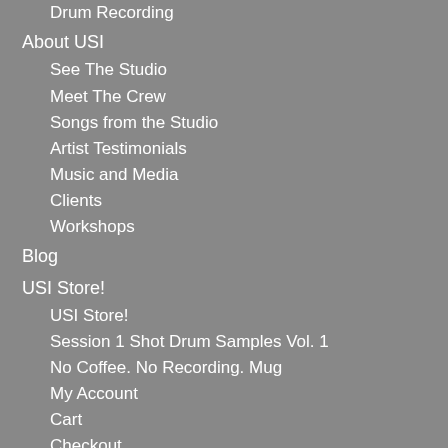Drum Recording
About USI
See The Studio
Meet The Crew
Songs from the Studio
Artist Testimonials
Music and Media
Clients
Workshops
Blog
USI Store!
USI Store!
Session 1 Shot Drum Samples Vol. 1
No Coffee. No Recording. Mug
My Account
Cart
Checkout